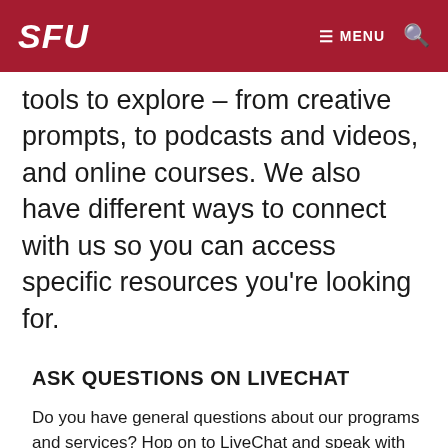SFU  ☰ MENU 🔍
tools to explore – from creative prompts, to podcasts and videos, and online courses. We also have different ways to connect with us so you can access specific resources you're looking for.
ASK QUESTIONS ON LIVECHAT
Do you have general questions about our programs and services? Hop on to LiveChat and speak with an Access Case Manager anonymously. MORE →